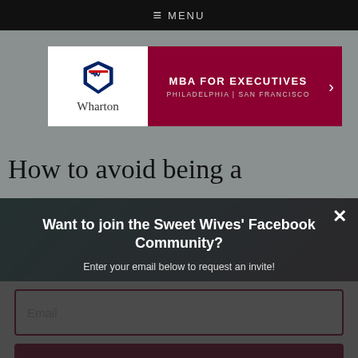≡ MENU
[Figure (photo): Wharton MBA for Executives advertisement banner with Wharton logo and text 'MBA FOR EXECUTIVES PHILADELPHIA | SAN FRANCISCO']
How to avoid being a
[Figure (photo): Background photo of hands clasped, overlaid with dark modal popup: 'Want to join the Sweet Wives' Facebook Community? Enter your email below to request an invite!' with a close button (x) and email input field and HECK YEAH! button]